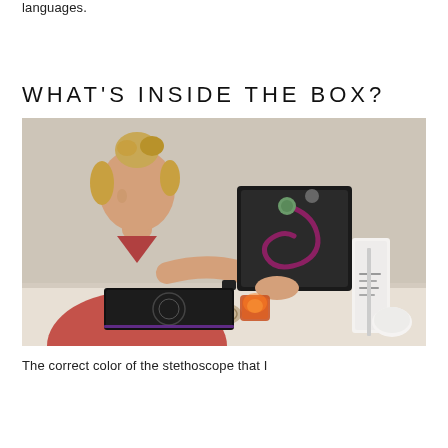languages.
WHAT'S INSIDE THE BOX?
[Figure (photo): A woman with blonde hair in a bun, wearing a red t-shirt, holding up a stethoscope in an open black box. On a table in front of her are more items including another black box and a white box.]
The correct color of the stethoscope that I